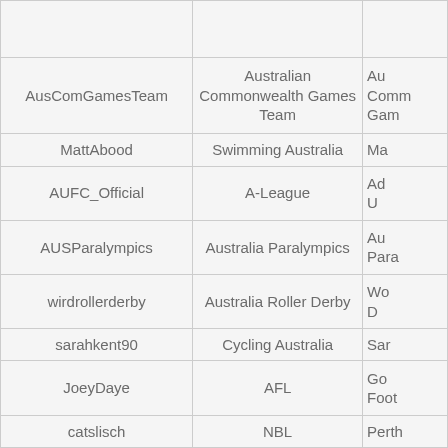|  |  |  |
| AusComGamesTeam | Australian Commonwealth Games Team | Au Comm Gam… |
| MattAbood | Swimming Australia | Ma… |
| AUFC_Official | A-League | Ad U… |
| AUSParalympics | Australia Paralympics | Au Para… |
| wirdrollerderby | Australia Roller Derby | Wo D… |
| sarahkent90 | Cycling Australia | Sar… |
| JoeyDaye | AFL | Go Foot… |
| catslisch | NBL | Perth… |